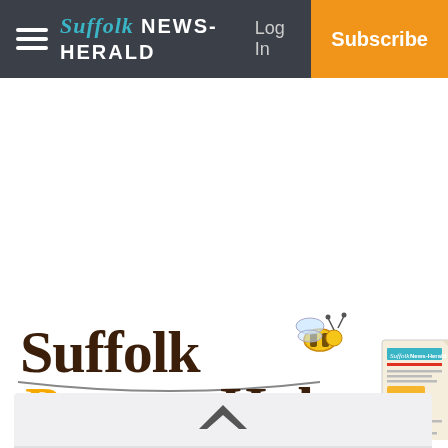Suffolk News-Herald — Log In | Subscribe
[Figure (logo): Suffolk Buzz Hub logo with bee illustration and newspaper graphic]
[Figure (other): Collapsed panel with upward chevron arrow indicator]